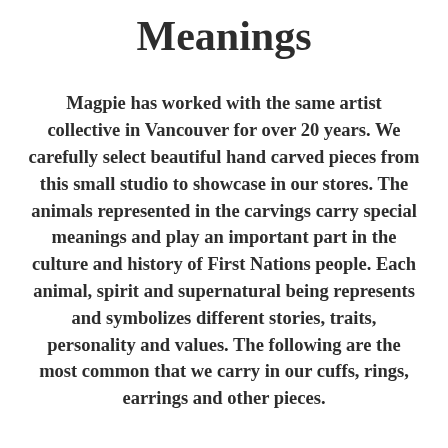Meanings
Magpie has worked with the same artist collective in Vancouver for over 20 years. We carefully select beautiful hand carved pieces from this small studio to showcase in our stores. The animals represented in the carvings carry special meanings and play an important part in the culture and history of First Nations people. Each animal, spirit and supernatural being represents and symbolizes different stories, traits, personality and values. The following are the most common that we carry in our cuffs, rings, earrings and other pieces.